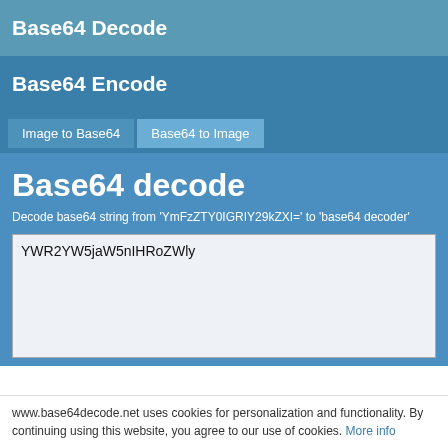Base64 Decode
Base64 Encode
Image to Base64
Base64 to Image
Base64 decode
Decode base64 string from 'YmFzZTY0IGRIY29kZXI=' to 'base64 decoder'
YWR2YW5jaW5nIHRoZWly
www.base64decode.net uses cookies for personalization and functionality. By continuing using this website, you agree to our use of cookies. More info